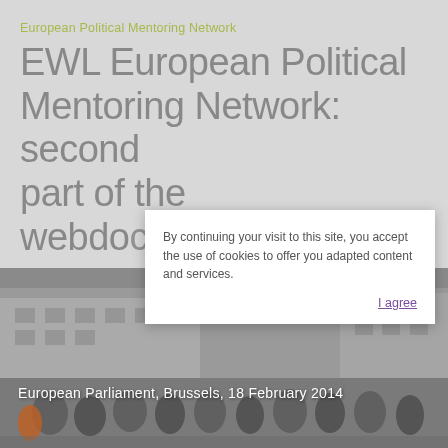European Political Mentoring Network
EWL European Political Mentoring Network: second part of the webdo...e
on 5 May 2014 |
By continuing your visit to this site, you accept the use of cookies to offer you adapted content and services.
I agree
[Figure (photo): Street scene in front of the European Parliament in Brussels showing a crowd of people, with overlay text: European Parliament, Brussels, 18 February 2014]